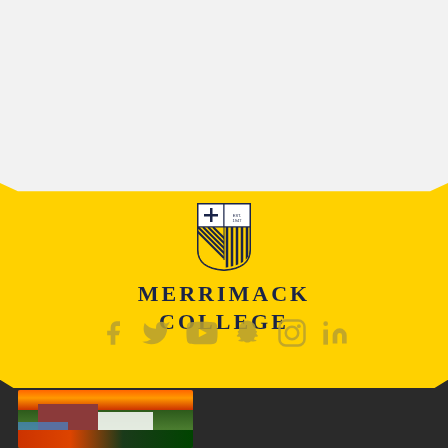[Figure (logo): Merrimack College shield logo and name on yellow banner with social media icons (Facebook, Twitter, YouTube, Snapchat, Instagram, LinkedIn). Yellow trapezoid banner on light gray background above dark footer.]
[Figure (photo): Aerial campus photo of Merrimack College athletic fields at sunset/dusk with orange sky, brick buildings, white tent structures, and colorful tracks.]